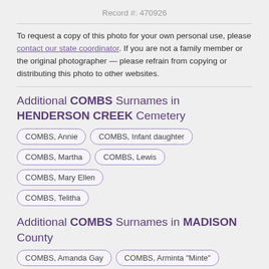Record #: 470926
To request a copy of this photo for your own personal use, please contact our state coordinator. If you are not a family member or the original photographer — please refrain from copying or distributing this photo to other websites.
Additional COMBS Surnames in HENDERSON CREEK Cemetery
COMBS, Annie
COMBS, Infant daughter
COMBS, Martha
COMBS, Lewis
COMBS, Mary Ellen
COMBS, Telitha
Additional COMBS Surnames in MADISON County
COMBS, Amanda Gay
COMBS, Arminta "Minte"